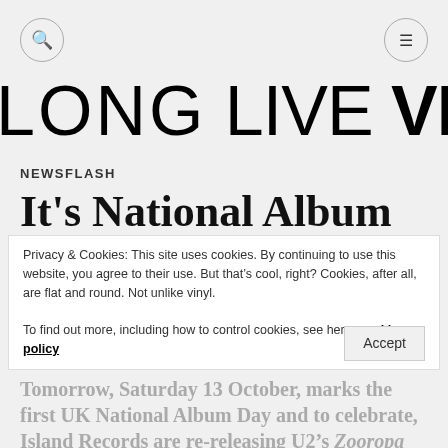Long Live Vinyl — navigation header with search and menu icons
LONG LIVE VINYL
NEWSFLASH
It's National Album Day tomorrow!
Privacy & Cookies: This site uses cookies. By continuing to use this website, you agree to their use. But that's cool, right? Cookies, after all, are flat and round. Not unlike vinyl.
To find out more, including how to control cookies, see here: cookie policy
Tomorrow, Saturday 13 October, marks the first UK National Album Day and to celebrate, Island Records are re-releasing U2's Zooropa on limited edition blue vinyl